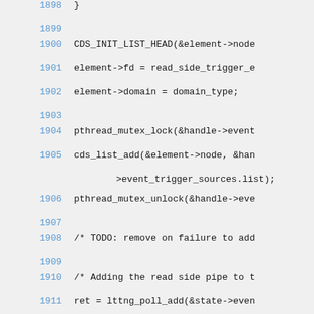1898    }
1899
1900    CDS_INIT_LIST_HEAD(&element->node
1901    element->fd = read_side_trigger_e
1902    element->domain = domain_type;
1903
1904    pthread_mutex_lock(&handle->event
1905    cds_list_add(&element->node, &han
>event_trigger_sources.list);
1906    pthread_mutex_unlock(&handle->eve
1907
1908    /* TODO: remove on failure to add
1909
1910    /* Adding the read side pipe to t
1911    ret = lttng_poll_add(&state->even
1912        read_side_trigger